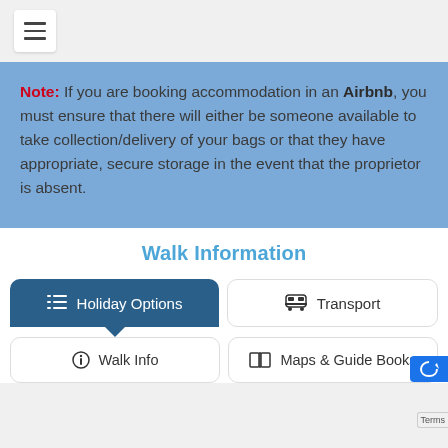[Hamburger menu icon]
Note: If you are booking accommodation in an Airbnb, you must ensure that there will either be someone available to take collection/delivery of your bags or that they have appropriate, secure storage in the event that the proprietor is absent.
Walk Information
[Figure (screenshot): Navigation tab buttons: active 'Holiday Options' tab (dark blue), 'Transport' tab (white), 'Walk Info' tab (white), 'Maps & Guide Books' tab (white)]